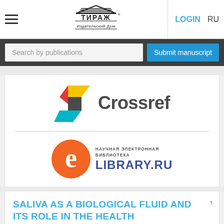[Figure (logo): ТИРАЖ Издательский Дом logo with building graphic]
LOGIN   RU
Search by publications
Submit manuscript
[Figure (logo): Crossref logo with colorful S-shaped symbol and text 'Crossref']
[Figure (logo): eLibrary.ru logo - Научная электронная библиотека, with orange e symbol]
SALIVA AS A BIOLOGICAL FLUID AND ITS ROLE IN THE HEALTH